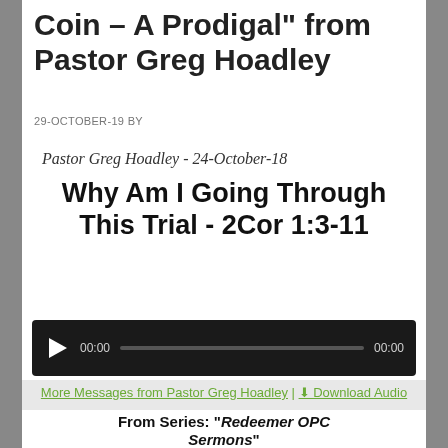Coin – A Prodigal” from Pastor Greg Hoadley
29-OCTOBER-19 BY
Pastor Greg Hoadley - 24-October-18
Why Am I Going Through This Trial - 2Cor 1:3-11
[Figure (other): Audio player with play button, time display 00:00, progress bar, and end time 00:00]
More Messages from Pastor Greg Hoadley | ⬇ Download Audio
From Series: "Redeemer OPC Sermons"